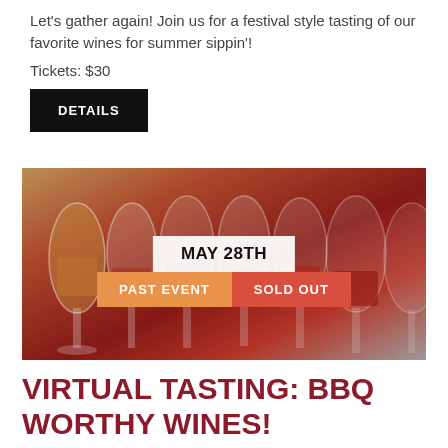Let's gather again! Join us for a festival style tasting of our favorite wines for summer sippin'!
Tickets: $30
DETAILS
[Figure (photo): Photo of multiple wine glasses filled with red, white, and rosé wines lined up in a row, with overlaid date badge 'MAY 28TH', 'PAST EVENT' badge in orange, and 'SOLD OUT' badge in red.]
VIRTUAL TASTING: BBQ Worthy Wines!